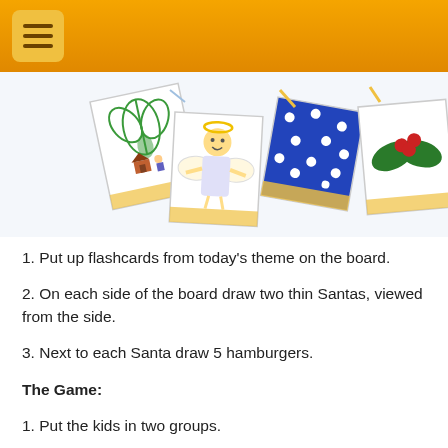Menu
[Figure (illustration): Four Christmas-themed flashcards shown at angles on a light blue background: a mistletoe/green plant card, an angel card, a blue starry night card, and a holly berry card.]
1. Put up flashcards from today’s theme on the board.
2. On each side of the board draw two thin Santas, viewed from the side.
3. Next to each Santa draw 5 hamburgers.
The Game:
1. Put the kids in two groups.
2. One person from each group goes to the back and